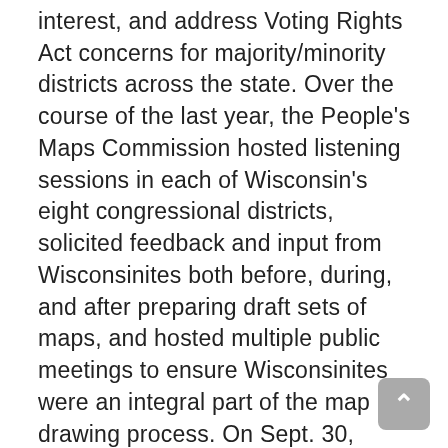interest, and address Voting Rights Act concerns for majority/minority districts across the state. Over the course of the last year, the People's Maps Commission hosted listening sessions in each of Wisconsin's eight congressional districts, solicited feedback and input from Wisconsinites both before, during, and after preparing draft sets of maps, and hosted multiple public meetings to ensure Wisconsinites were an integral part of the map drawing process. On Sept. 30, 2021, the Commission released a first, preliminary round of draft maps for public review and consideration. After receiving and incorporating feedback following the release of those initial maps, the Commission released updated versions for public review and input on Oct. 20, 2021. The maps released today are the third and final iteration of the maps prepared by the People's Maps Commission. Overall, the Commission received nearly 2,000 submissions